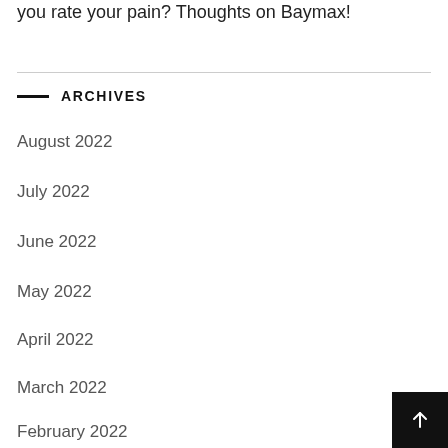you rate your pain? Thoughts on Baymax!
ARCHIVES
August 2022
July 2022
June 2022
May 2022
April 2022
March 2022
February 2022